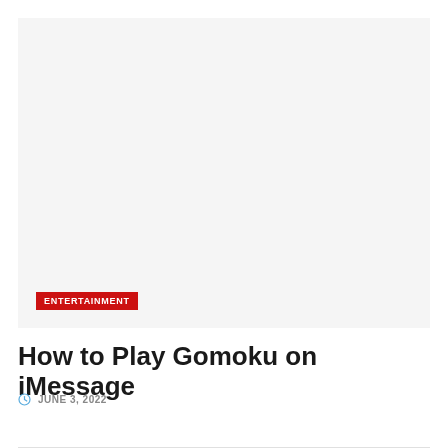[Figure (photo): Large light gray image placeholder with an 'ENTERTAINMENT' red label badge in the lower-left corner]
How to Play Gomoku on iMessage
JUNE 3, 2022